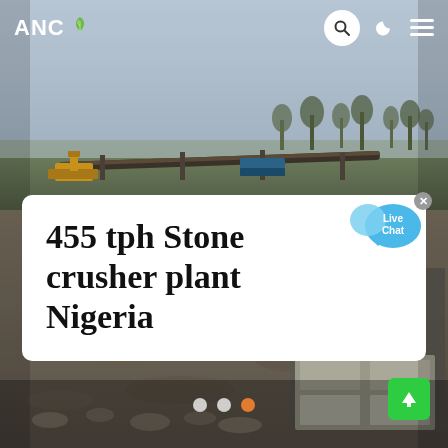[Figure (photo): Aerial drone view of a stone crusher plant / mining site in Nigeria, showing conveyor belts, heavy machinery, excavated terrain, and industrial processing equipment on the right side. Hazy sky in background.]
ANC [logo with leaf icon] — navigation icons: search, dark mode, menu
455 tph Stone crusher plant Nigeria
Live Chat bubble overlay
[Figure (infographic): Carousel indicator dots: two white dots and one orange dot (third position active), plus a green scroll-to-top button with up arrow on the bottom right.]